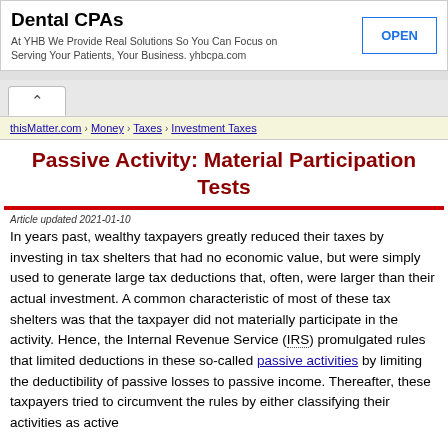[Figure (other): Advertisement banner for Dental CPAs at YHB with an OPEN button]
thisMatter.com › Money › Taxes › Investment Taxes
Passive Activity: Material Participation Tests
Article updated 2021-01-10
In years past, wealthy taxpayers greatly reduced their taxes by investing in tax shelters that had no economic value, but were simply used to generate large tax deductions that, often, were larger than their actual investment. A common characteristic of most of these tax shelters was that the taxpayer did not materially participate in the activity. Hence, the Internal Revenue Service (IRS) promulgated rules that limited deductions in these so-called passive activities by limiting the deductibility of passive losses to passive income. Thereafter, these taxpayers tried to circumvent the rules by either classifying their activities as active